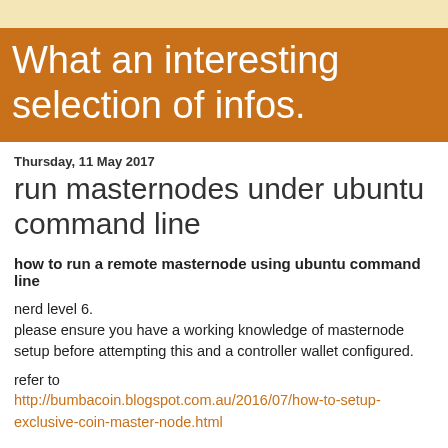What an interesting selection of infos.
Thursday, 11 May 2017
run masternodes under ubuntu command line
how to run a remote masternode using ubuntu command line
nerd level 6.
please ensure you have a working knowledge of masternode setup before attempting this and a controller wallet configured.
refer to
http://bumbacoin.blogspot.com.au/2016/07/how-to-setup-exclusive-coin-master-node.html